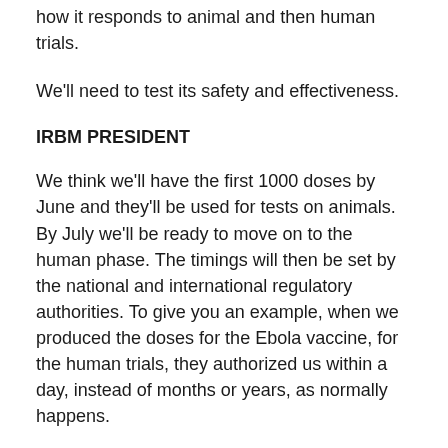how it responds to animal and then human trials.
We'll need to test its safety and effectiveness.
IRBM PRESIDENT
We think we'll have the first 1000 doses by June and they'll be used for tests on animals. By July we'll be ready to move on to the human phase. The timings will then be set by the national and international regulatory authorities. To give you an example, when we produced the doses for the Ebola vaccine, for the human trials, they authorized us within a day, instead of months or years, as normally happens.
I hope there will be no need given the extreme urgency.